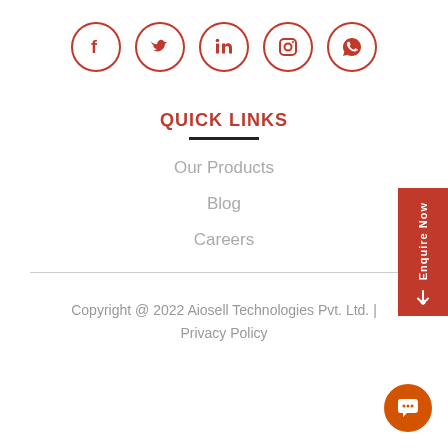[Figure (other): Social media icons row: Facebook, Twitter, LinkedIn, Instagram, WhatsApp — red circle outline icons]
QUICK LINKS
Our Products
Blog
Careers
Copyright @ 2022 Aiosell Technologies Pvt. Ltd. | Privacy Policy